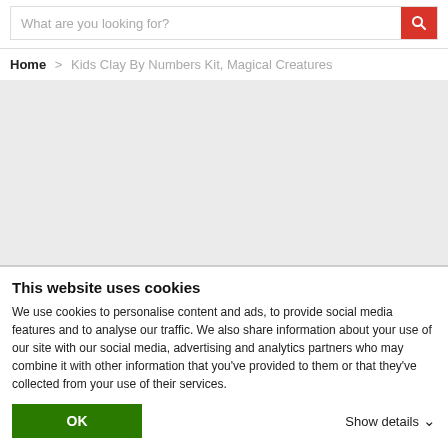What are you looking for?
Home > Kids Clay By Numbers Kit, Magical Creatures
[Figure (photo): Light grey placeholder rectangle representing a product image area]
This website uses cookies
We use cookies to personalise content and ads, to provide social media features and to analyse our traffic. We also share information about your use of our site with our social media, advertising and analytics partners who may combine it with other information that you've provided to them or that they've collected from your use of their services.
OK   Show details